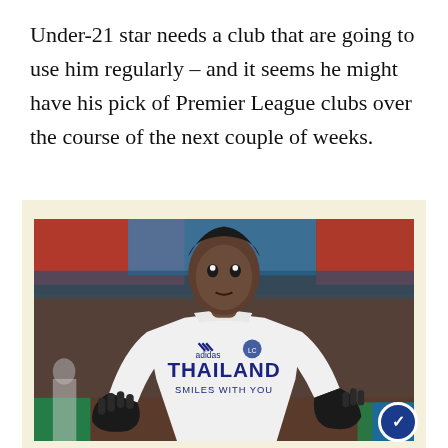Under-21 star needs a club that are going to use him regularly – and it seems he might have his pick of Premier League clubs over the course of the next couple of weeks.
[Figure (photo): A young footballer wearing a white Leicester City away kit with 'THAILAND SMILES WITH YOU' sponsor text and Adidas logo, wearing black gloves, looking upward with arms slightly raised, with a stadium background visible.]